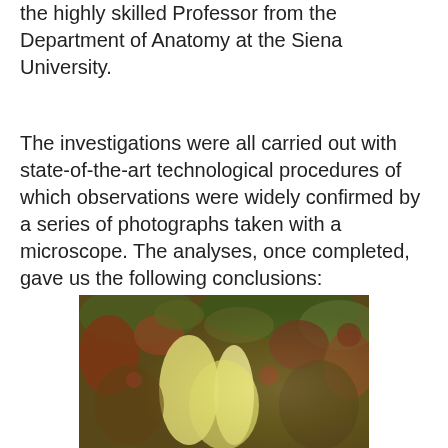the highly skilled Professor from the Department of Anatomy at the Siena University.
The investigations were all carried out with state-of-the-art technological procedures of which observations were widely confirmed by a series of photographs taken with a microscope. The analyses, once completed, gave us the following conclusions:
[Figure (photo): Microscope photograph showing biological tissue specimen with yellow, green, red and brown coloration, likely a histological or microscopy sample.]